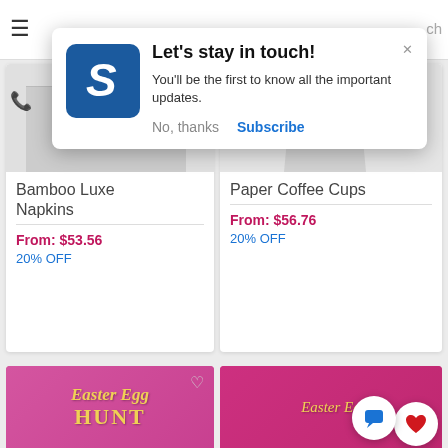[Figure (screenshot): Mobile website screenshot showing a subscription popup modal and product listing cards for an e-commerce site]
Let's stay in touch!
You'll be the first to know all the important updates.
No, thanks
Subscribe
Bamboo Luxe Napkins
From: $53.56
20% OFF
Paper Coffee Cups
From: $56.76
20% OFF
Easter Egg
HUNT
Easter Eg...